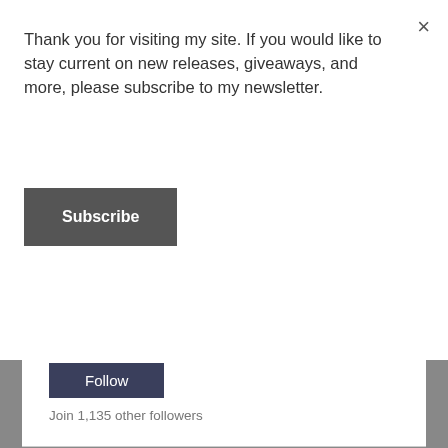Thank you for visiting my site. If you would like to stay current on new releases, giveaways, and more, please subscribe to my newsletter.
Subscribe
Follow
Join 1,135 other followers
FOLLOW ME ON TWITTER
Tweets from @skylit1
Amanda J. McGee Retweeted
Tachyon Publications
@TachyonPub · 17h